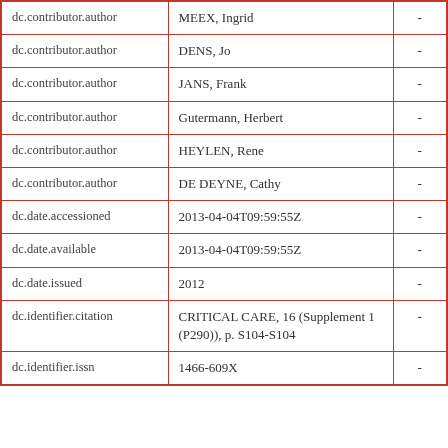| Field | Value |  |
| --- | --- | --- |
| dc.contributor.author | MEEX, Ingrid | - |
| dc.contributor.author | DENS, Jo | - |
| dc.contributor.author | JANS, Frank | - |
| dc.contributor.author | Gutermann, Herbert | - |
| dc.contributor.author | HEYLEN, Rene | - |
| dc.contributor.author | DE DEYNE, Cathy | - |
| dc.date.accessioned | 2013-04-04T09:59:55Z | - |
| dc.date.available | 2013-04-04T09:59:55Z | - |
| dc.date.issued | 2012 | - |
| dc.identifier.citation | CRITICAL CARE, 16 (Supplement 1 (P290)), p. S104-S104 | - |
| dc.identifier.issn | 1466-609X | - |